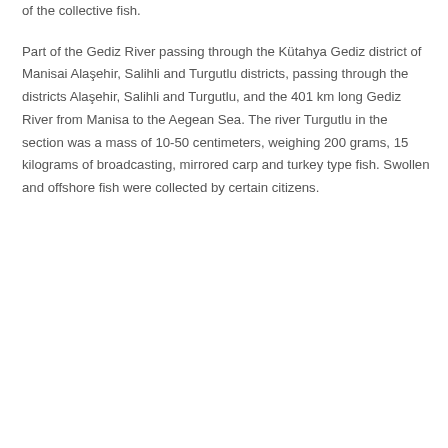of the collective fish. Part of the Gediz River passing through the Kütahya Gediz district of Manisai Alaşehir, Salihli and Turgutlu districts, passing through the districts Alaşehir, Salihli and Turgutlu, and the 401 km long Gediz River from Manisa to the Aegean Sea. The river Turgutlu in the section was a mass of 10-50 centimeters, weighing 200 grams, 15 kilograms of broadcasting, mirrored carp and turkey type fish. Swollen and offshore fish were collected by certain citizens.